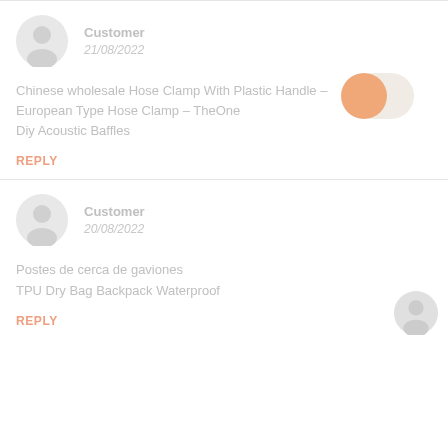Customer
21/08/2022
Chinese wholesale Hose Clamp With Plastic Handle – European Type Hose Clamp – TheOne Diy Acoustic Baffles
REPLY
Customer
20/08/2022
Postes de cerca de gaviones
TPU Dry Bag Backpack Waterproof
REPLY